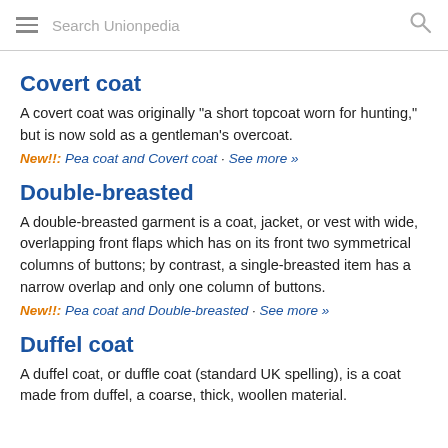Search Unionpedia
Covert coat
A covert coat was originally "a short topcoat worn for hunting," but is now sold as a gentleman's overcoat.
New!!: Pea coat and Covert coat · See more »
Double-breasted
A double-breasted garment is a coat, jacket, or vest with wide, overlapping front flaps which has on its front two symmetrical columns of buttons; by contrast, a single-breasted item has a narrow overlap and only one column of buttons.
New!!: Pea coat and Double-breasted · See more »
Duffel coat
A duffel coat, or duffle coat (standard UK spelling), is a coat made from duffel, a coarse, thick, woollen material.